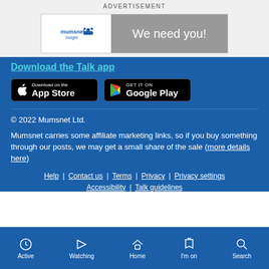ADVERTISEMENT
[Figure (logo): Mumsnet Insight advertisement banner with logo on left and 'We need you!' text on grey background]
Download the Talk app
[Figure (infographic): Download on the App Store button (black)]
[Figure (infographic): GET IT ON Google Play button (black)]
© 2022 Mumsnet Ltd.
Mumsnet carries some affiliate marketing links, so if you buy something through our posts, we may get a small share of the sale (more details here)
Help | Contact us | Terms | Privacy | Privacy settings | Accessibility | Talk guidelines
Active | Watching | Home | I'm on | Search